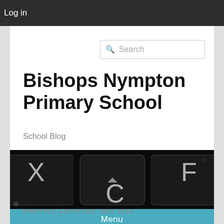Log in
Bishops Nympton Primary School
School Blog
[Figure (photo): Close-up photograph of dark keyboard keys (X, C, F visible) on a black background]
Menu
MONTHLY ARCHIVES: MAY 2018